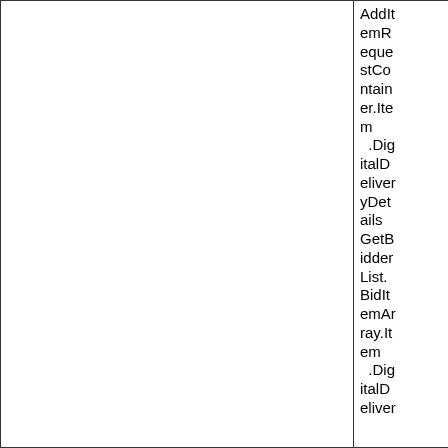|  | AddItemRequestContainer.Item .DigitalDeliveryDetails GetBidderList.BidItemArray.Item .DigitalDeliver |